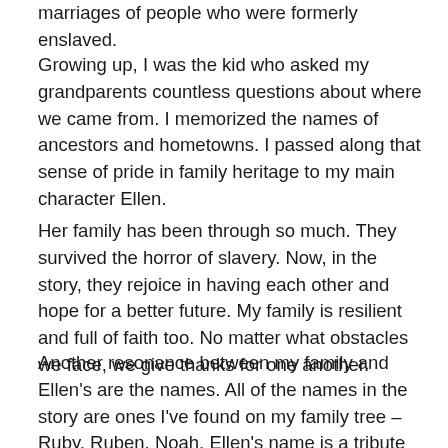marriages of people who were formerly enslaved.
Growing up, I was the kid who asked my grandparents countless questions about where we came from. I memorized the names of ancestors and hometowns. I passed along that sense of pride in family heritage to my main character Ellen.
Her family has been through so much. They survived the horror of slavery. Now, in the story, they rejoice in having each other and hope for a better future. My family is resilient and full of faith too. No matter what obstacles we face, we give thanks for one another.
Another resonance between my family and Ellen's are the names. All of the names in the story are ones I've found on my family tree – Ruby, Ruben, Noah. Ellen's name is a tribute to my maternal grandfather's mother. I was